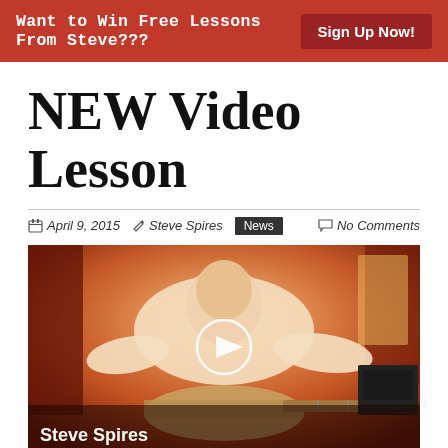Want to Win Free Lessons From Steve??? Sign Up Now!
NEW Video Lesson
April 9, 2015   Steve Spires   News   No Comments
[Figure (photo): Video thumbnail showing Steve Spires playing guitar, with a play button overlay and 'Steve Spires' text at the bottom left.]